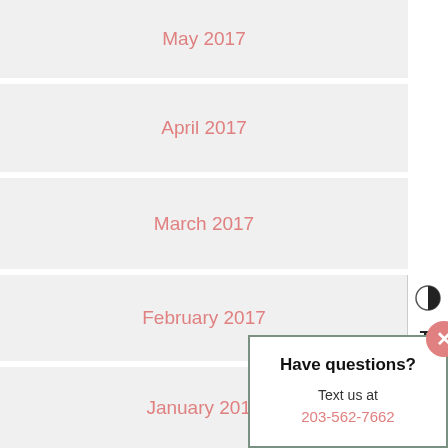May 2017
April 2017
March 2017
February 2017
January 2017
December 2...
November 2...
Have questions?
Text us at
203-562-7662